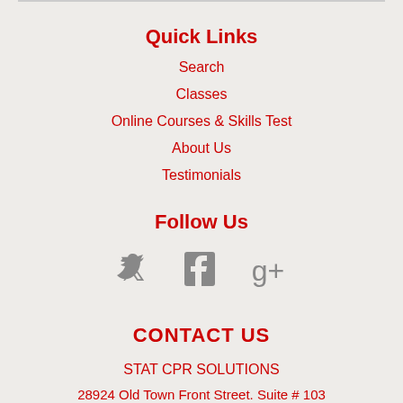Quick Links
Search
Classes
Online Courses & Skills Test
About Us
Testimonials
Follow Us
[Figure (infographic): Social media icons: Twitter bird, Facebook F, Google+ g+ in gray]
CONTACT US
STAT CPR SOLUTIONS
28924 Old Town Front Street. Suite # 103
Temecula, CA 92590